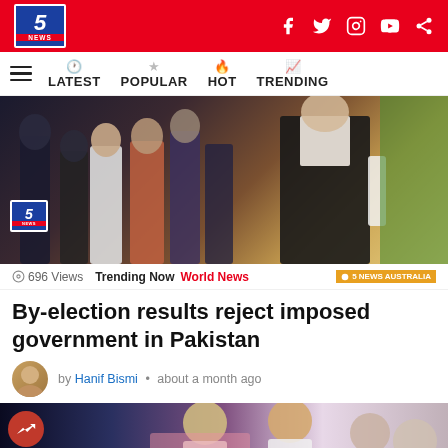5 NEWS
LATEST  POPULAR  HOT  TRENDING
[Figure (photo): Hero image showing people at an event with a man in a black vest on the right side against a golden background, with 5 News logo overlay]
696 Views  Trending Now  World News  5 NEWS AUSTRALIA
By-election results reject imposed government in Pakistan
by Hanif Bismi • about a month ago
[Figure (photo): Bottom promotional/article image showing people at an event with a red trending badge overlay and X close button]